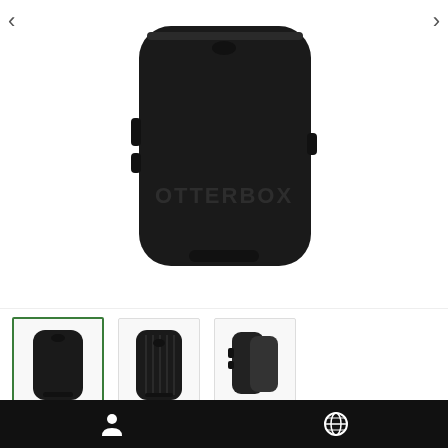[Figure (photo): Main product image: OtterBox Symmetry protective case in black for Samsung Galaxy S20, showing the rear of the case with OTTERBOX lettering, on white background. Navigation arrows on top corners.]
[Figure (photo): Thumbnail row: 3 product thumbnails showing front view (selected, green border), back view with ribbed texture, and side/stacked view of the black OtterBox case.]
OTTERBOX
SYMMETRY PROTECTIVE CASE BLACK FOR SAMSUNG GALAXY S20